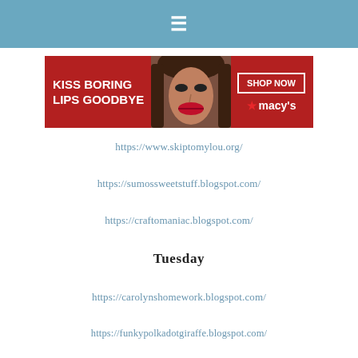☰
[Figure (photo): Advertisement banner for Macy's lipstick: 'KISS BORING LIPS GOODBYE' with woman wearing red lipstick and a 'SHOP NOW' button with Macy's logo]
https://www.skiptomylou.org/
https://sumossweetstuff.blogspot.com/
https://craftomaniac.blogspot.com/
Tuesday
https://carolynshomework.blogspot.com/
https://funkypolkadotgiraffe.blogspot.com/
https://www.sugarbeecrafts.com/